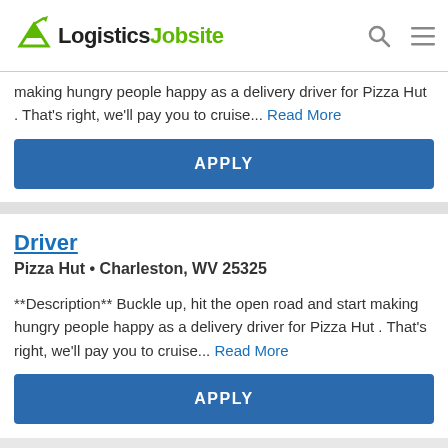LogisticsJobsite
making hungry people happy as a delivery driver for Pizza Hut . That's right, we'll pay you to cruise... Read More
APPLY
Driver
Pizza Hut • Charleston, WV 25325
**Description** Buckle up, hit the open road and start making hungry people happy as a delivery driver for Pizza Hut . That's right, we'll pay you to cruise... Read More
APPLY